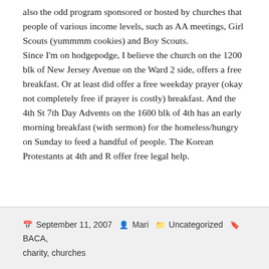also the odd program sponsored or hosted by churches that people of various income levels, such as AA meetings, Girl Scouts (yummmm cookies) and Boy Scouts.
Since I'm on hodgepodge, I believe the church on the 1200 blk of New Jersey Avenue on the Ward 2 side, offers a free breakfast. Or at least did offer a free weekday prayer (okay not completely free if prayer is costly) breakfast. And the 4th St 7th Day Advents on the 1600 blk of 4th has an early morning breakfast (with sermon) for the homeless/hungry on Sunday to feed a handful of people. The Korean Protestants at 4th and R offer free legal help.
September 11, 2007  Mari  Uncategorized  BACA, charity, churches